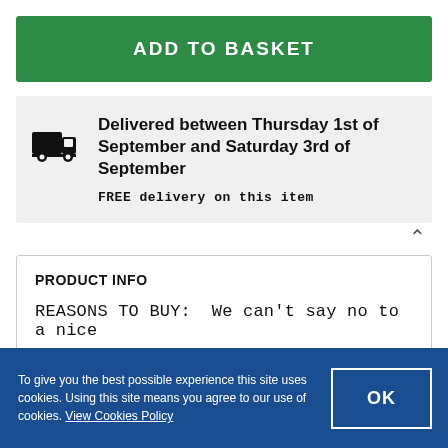ADD TO BASKET
Delivered between Thursday 1st of September and Saturday 3rd of September
FREE delivery on this item
PRODUCT INFO
REASONS TO BUY:  We can't say no to a nice
To give you the best possible experience this site uses cookies. Using this site means you agree to our use of cookies. View Cookies Policy
OK